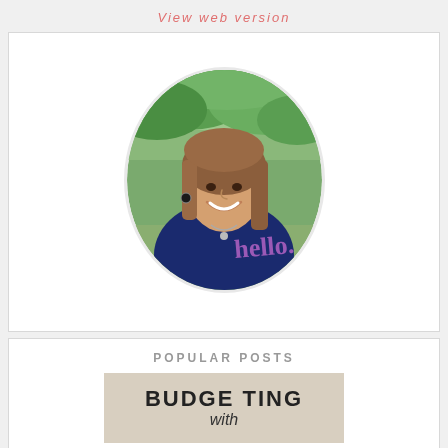View web version
[Figure (photo): Oval portrait photo of a smiling woman with shoulder-length brown hair, wearing a navy blue top, outdoors with green foliage in background. Purple handwritten 'hello.' text overlaid on lower right of photo.]
POPULAR POSTS
[Figure (illustration): Tan/beige background card with bold uppercase handwritten-style text reading 'BUDGETING with']